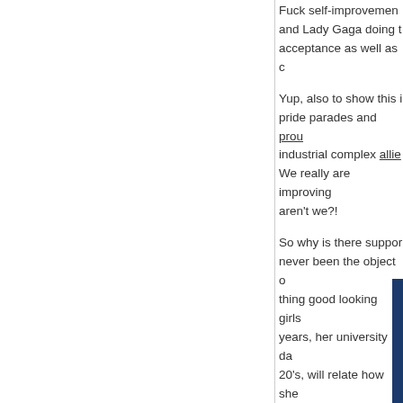Fuck self-improvement and Lady Gaga doing this acceptance as well as c
Yup, also to show this i pride parades and prou industrial complex allie We really are improving aren't we?!
So why is there suppor never been the object o thing good looking girls years, her university da 20's, will relate how she which this fad instills o problem, it gives entitle